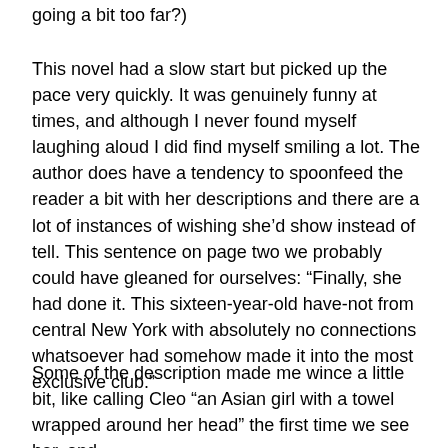going a bit too far?)
This novel had a slow start but picked up the pace very quickly. It was genuinely funny at times, and although I never found myself laughing aloud I did find myself smiling a lot. The author does have a tendency to spoonfeed the reader a bit with her descriptions and there are a lot of instances of wishing she’d show instead of tell. This sentence on page two we probably could have gleaned for ourselves: “Finally, she had done it. This sixteen-year-old have-not from central New York with absolutely no connections whatsoever had somehow made it into the most exclusive club.”
Some of the description made me wince a little bit, like calling Cleo “an Asian girl with a towel wrapped around her head” the first time we see her, and